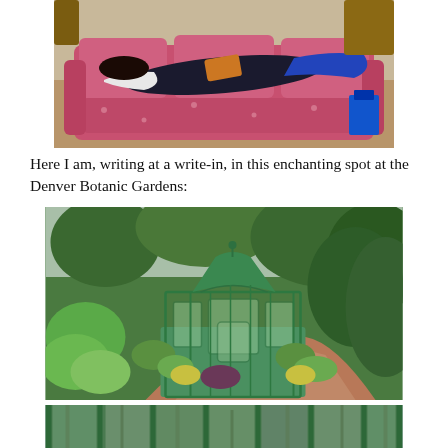[Figure (photo): Person lying on a red/pink floral patterned sofa, reading or writing, with blue clothing visible. Living room setting with wooden furniture in background.]
Here I am, writing at a write-in, in this enchanting spot at the Denver Botanic Gardens:
[Figure (photo): A green ornate gazebo or conservatory structure surrounded by lush green trees and garden plants, with a brick pathway, at the Denver Botanic Gardens.]
[Figure (photo): Close-up view through green-framed glass panels of trees and garden foliage beyond, at the Denver Botanic Gardens.]